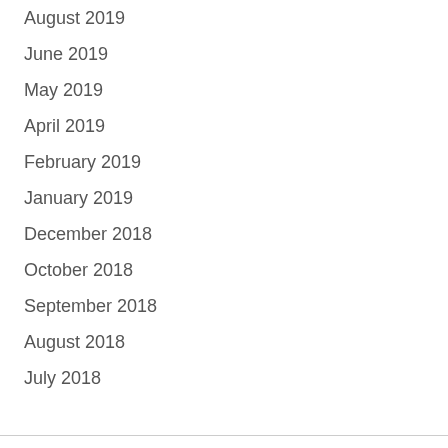August 2019
June 2019
May 2019
April 2019
February 2019
January 2019
December 2018
October 2018
September 2018
August 2018
July 2018